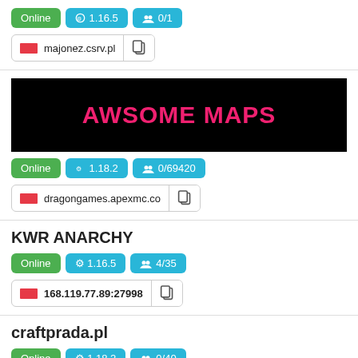Online | 1.16.5 | 0/1
majonez.csrv.pl
[Figure (screenshot): AWSOME MAPS server banner with pink text on black background]
Online | 1.18.2 | 0/69420
dragongames.apexmc.co
KWR ANARCHY
Online | 1.16.5 | 4/35
168.119.77.89:27998
craftprada.pl
Online | 1.18.2 | 0/40